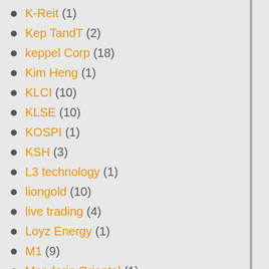K-Reit (1)
Kep TandT (2)
keppel Corp (18)
Kim Heng (1)
KLCI (10)
KLSE (10)
KOSPI (1)
KSH (3)
L3 technology (1)
liongold (10)
live trading (4)
Loyz Energy (1)
M1 (9)
Mandarin Oriental (1)
Mapletree Commercial Trust (1)
MapleTree Industrial Trust (1)
MapletreeGCC (2)
Market Opinion (4)
Market Outlook (28)